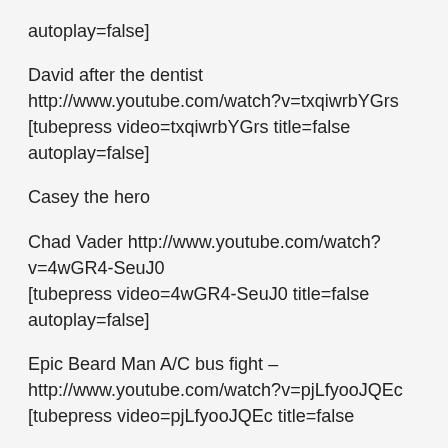autoplay=false]
David after the dentist http://www.youtube.com/watch?v=txqiwrbYGrs [tubepress video=txqiwrbYGrs title=false autoplay=false]
Casey the hero
Chad Vader http://www.youtube.com/watch?v=4wGR4-SeuJ0 [tubepress video=4wGR4-SeuJ0 title=false autoplay=false]
Epic Beard Man A/C bus fight – http://www.youtube.com/watch?v=pjLfyooJQEc [tubepress video=pjLfyooJQEc title=false